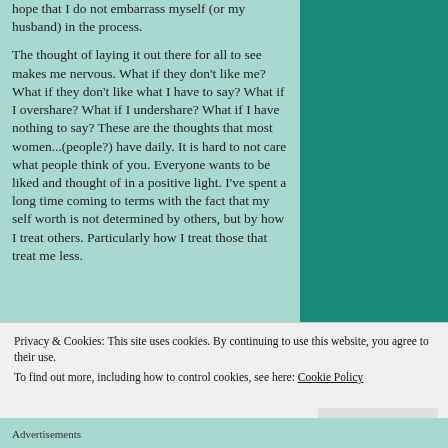hope that I do not embarrass myself (or my husband) in the process.
The thought of laying it out there for all to see makes me nervous.  What if they don't like me?  What if they don't like what I have to say?  What if I overshare?  What if I undershare?  What if I have nothing to say?  These are the thoughts that most women...(people?) have daily.  It is hard to not care what people think of you.  Everyone wants to be liked and thought of in a positive light.  I've spent a long time coming to terms with the fact that my self worth is not determined by others, but by how I treat others.  Particularly how I treat those that treat me less.
Privacy & Cookies: This site uses cookies. By continuing to use this website, you agree to their use.
To find out more, including how to control cookies, see here: Cookie Policy
Advertisements